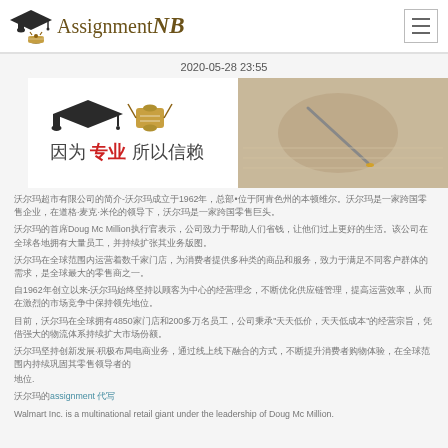AssignmentNB
2020-05-28 23:55
[Figure (illustration): Banner image with graduation cap and diploma icons on left side with Chinese text '因为专业 所以信赖' (Because of professionalism, therefore trustworthy) and a photo of a hand writing with a pen on the right side.]
（Chinese text paragraph 1 - introduction about 1962）
（Chinese text paragraph about Doug Mc Million）
（Chinese text paragraph 3）
（Chinese text paragraph about 1962）
（Chinese text paragraph about 4850 and 200）
（Chinese text paragraph concluding）
沃尔玛assignment 代写
Walmart Inc. is a multinational retail giant under the leadership of Doug Mc Million.